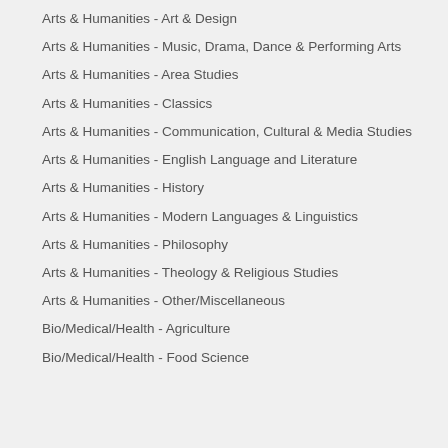Arts & Humanities - Art & Design
Arts & Humanities - Music, Drama, Dance & Performing Arts
Arts & Humanities - Area Studies
Arts & Humanities - Classics
Arts & Humanities - Communication, Cultural & Media Studies
Arts & Humanities - English Language and Literature
Arts & Humanities - History
Arts & Humanities - Modern Languages & Linguistics
Arts & Humanities - Philosophy
Arts & Humanities - Theology & Religious Studies
Arts & Humanities - Other/Miscellaneous
Bio/Medical/Health - Agriculture
Bio/Medical/Health - Food Science